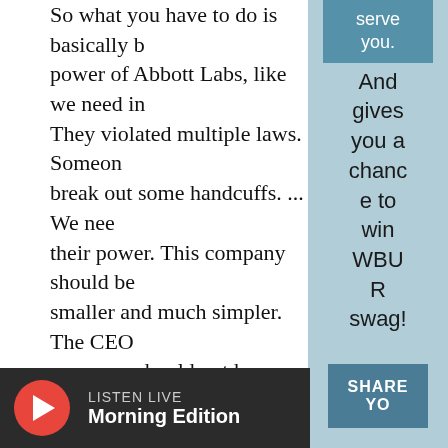So what you have to do is basically break the power of Abbott Labs, like we need in... They violated multiple laws. Someone needs to break out some handcuffs. ... We need to strip their power. This company should be smaller and much simpler. The CEO of this company should not have their formula be a rounding error on their balance sheet — we need focused companies. If babies need formula, the CEO of that company should be right on it. And it's like clear that that wasn't the case here. So first of all, we just need to break up these giant conglomerates and simplify these companies.
serve you. And gives you a chance to win WBUR swag!
[Figure (other): Blue button with text 'SHARE YO' (partially visible)]
LISTEN LIVE Morning Edition